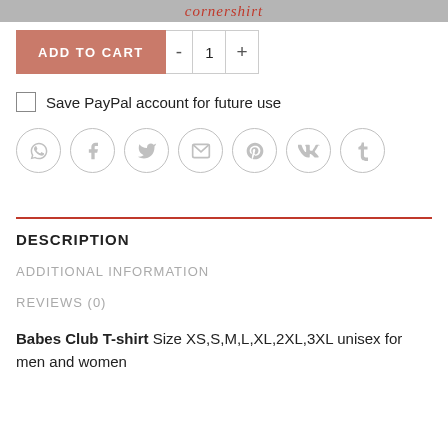cornershirt
[Figure (screenshot): Add to Cart button (salmon/pink color) with quantity controls showing minus button, quantity 1, and plus button]
Save PayPal account for future use
[Figure (infographic): Row of 7 circular social media share icons: WhatsApp, Facebook, Twitter, Email, Pinterest, VK, Tumblr]
DESCRIPTION
ADDITIONAL INFORMATION
REVIEWS (0)
Babes Club T-shirt Size XS,S,M,L,XL,2XL,3XL unisex for men and women